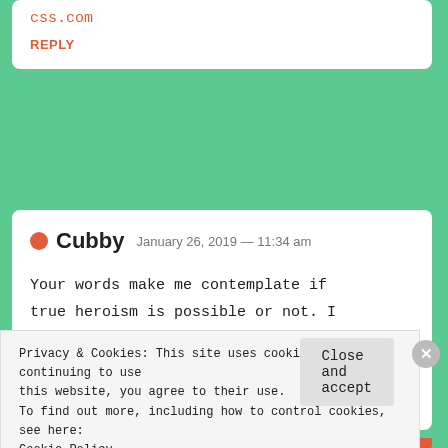css.com
REPLY
Cubby  January 26, 2019 — 11:34 am
Your words make me contemplate if true heroism is possible or not. I would like to believe it is. An
Privacy & Cookies: This site uses cookies. By continuing to use this website, you agree to their use.
To find out more, including how to control cookies, see here:
Cookie Policy
Close and accept